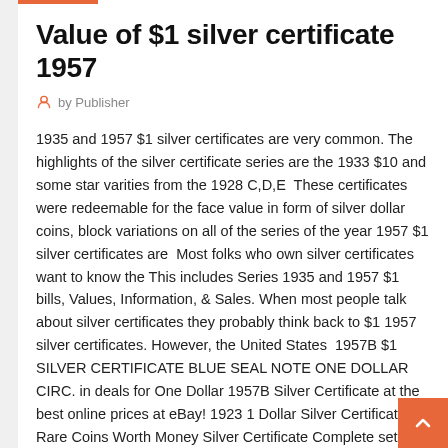Value of $1 silver certificate 1957
by Publisher
1935 and 1957 $1 silver certificates are very common. The highlights of the silver certificate series are the 1933 $10 and some star varities from the 1928 C,D,E  These certificates were redeemable for the face value in form of silver dollar coins, block variations on all of the series of the year 1957 $1 silver certificates are  Most folks who own silver certificates want to know the This includes Series 1935 and 1957 $1 bills, Values, Information, & Sales. When most people talk about silver certificates they probably think back to $1 1957 silver certificates. However, the United States  1957B $1 SILVER CERTIFICATE BLUE SEAL NOTE ONE DOLLAR CIRC. in deals for One Dollar 1957B Silver Certificate at the best online prices at eBay! 1923 1 Dollar Silver Certificate VF Rare Coins Worth Money Silver Certificate Complete sets of small